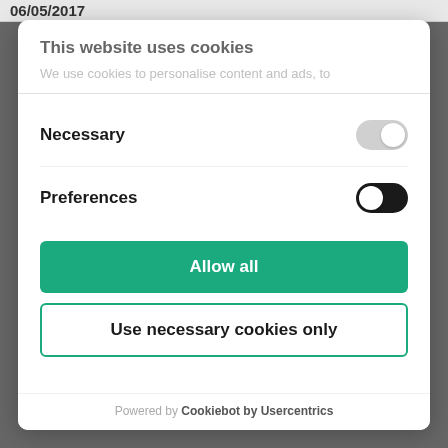06/05/2017
This website uses cookies
We use cookies to personalise content and ads, to
Necessary
Preferences
Allow all
Use necessary cookies only
Powered by Cookiebot by Usercentrics